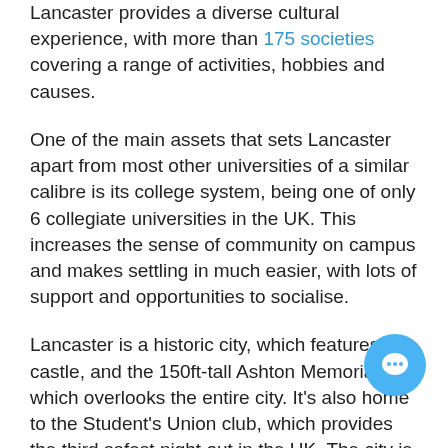Lancaster provides a diverse cultural experience, with more than 175 societies covering a range of activities, hobbies and causes.
One of the main assets that sets Lancaster apart from most other universities of a similar calibre is its college system, being one of only 6 collegiate universities in the UK. This increases the sense of community on campus and makes settling in much easier, with lots of support and opportunities to socialise.
Lancaster is a historic city, which features a castle, and the 150ft-tall Ashton Memorial, which overlooks the entire city. It's also home to the Student's Union club, which provides the third safest night out in the UK. The city is well placed on rail routes, with fast travel times to Manchester and Liverpool, with London only 2 and a half hours away.